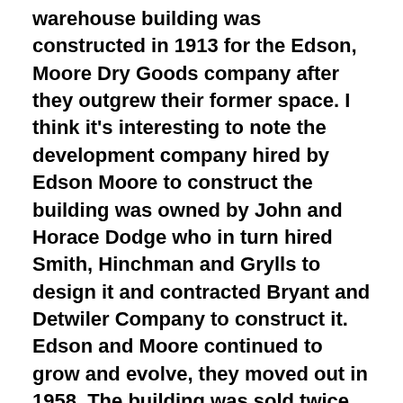warehouse building was constructed in 1913 for the Edson, Moore Dry Goods company after they outgrew their former space. I think it's interesting to note the development company hired by Edson Moore to construct the building was owned by John and Horace Dodge who in turn hired Smith, Hinchman and Grylls to design it and contracted Bryant and Detwiler Company to construct it. Edson and Moore continued to grow and evolve, they moved out in 1958. The building was sold twice more then Bedrock Real Estate purchased it in 2016 and turned it into what we see here today; a beautiful, active, useful building. We wander through attractive communal spaces offering cozy seating areas, ride the elevator and wander down long hallways making our way to several loft apartments; it's a nice blend of historic architecture with modern comforts and style. As we wrap up our visit